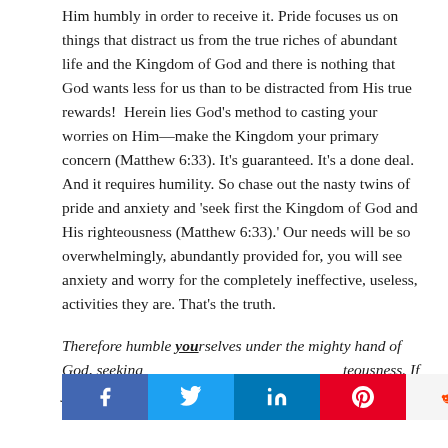Him humbly in order to receive it. Pride focuses us on things that distract us from the true riches of abundant life and the Kingdom of God and there is nothing that God wants less for us than to be distracted from His true rewards!  Herein lies God's method to casting your worries on Him—make the Kingdom your primary concern (Matthew 6:33). It's guaranteed. It's a done deal. And it requires humility. So chase out the nasty twins of pride and anxiety and 'seek first the Kingdom of God and His righteousness (Matthew 6:33).' Our needs will be so overwhelmingly, abundantly provided for, you will see anxiety and worry for the completely ineffective, useless, activities they are. That's the truth.
Therefore humble yourselves under the mighty hand of God, seeking … teousness. If you will do … ll the things
[Figure (other): Social media share bar with Facebook, Twitter, LinkedIn, Pinterest, and Reddit buttons overlapping the bottom text]